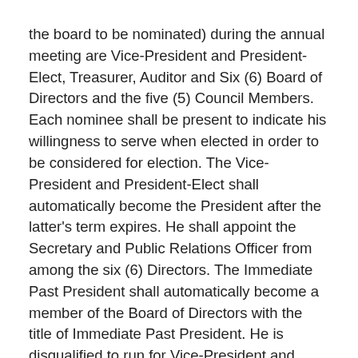the board to be nominated) during the annual meeting are Vice-President and President-Elect, Treasurer, Auditor and Six (6) Board of Directors and the five (5) Council Members. Each nominee shall be present to indicate his willingness to serve when elected in order to be considered for election. The Vice-President and President-Elect shall automatically become the President after the latter's term expires. He shall appoint the Secretary and Public Relations Officer from among the six (6) Directors. The Immediate Past President shall automatically become a member of the Board of Directors with the title of Immediate Past President. He is disqualified to run for Vice-President and President-Elect until after his term as Immediate Past President shall have expired. Any elected official that resigns his/her position is ineligible to run for any elective position within three (3) years from resignation. Qualification for nominees for Vice-President and President-Elect. He/She has been an active